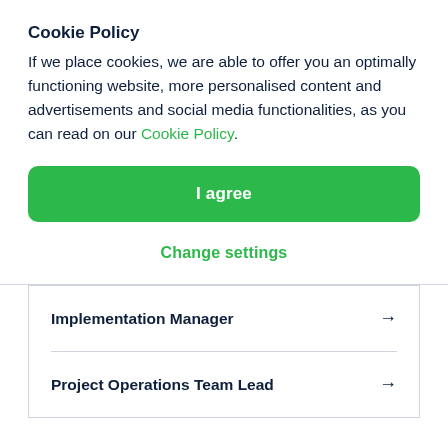Cookie Policy
If we place cookies, we are able to offer you an optimally functioning website, more personalised content and advertisements and social media functionalities, as you can read on our Cookie Policy.
I agree
Change settings
Implementation Manager →
Project Operations Team Lead →